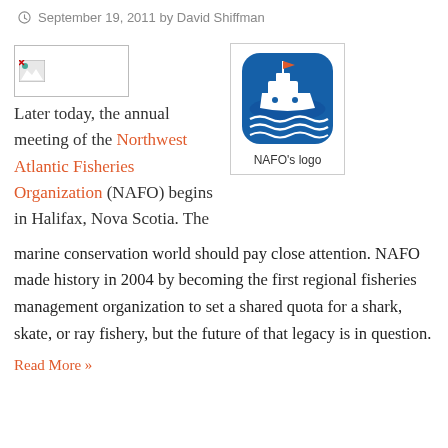September 19, 2011 by David Shiffman
[Figure (photo): Broken image placeholder thumbnail]
Later today, the annual meeting of the Northwest Atlantic Fisheries Organization (NAFO) begins in Halifax, Nova Scotia. The marine conservation world should pay close attention. NAFO made history in 2004 by becoming the first regional fisheries management organization to set a shared quota for a shark, skate, or ray fishery, but the future of that legacy is in question.
[Figure (logo): NAFO's logo — blue rounded-square icon with a fishing vessel on water waves]
NAFO's logo
Read More »